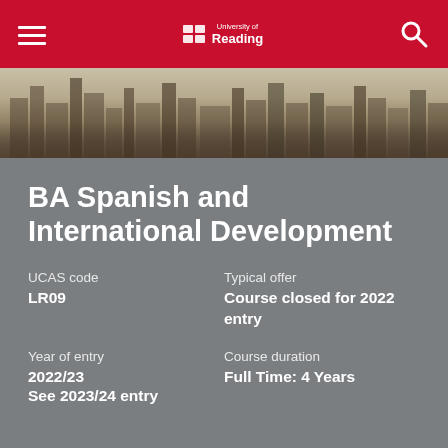University of Reading
[Figure (photo): Aerial/cityscape photo of Reading city skyline with historic buildings and modern architecture]
BA Spanish and International Development
UCAS code
LR09
Typical offer
Course closed for 2022 entry
Year of entry
2022/23
See 2023/24 entry
Course duration
Full Time: 4 Years